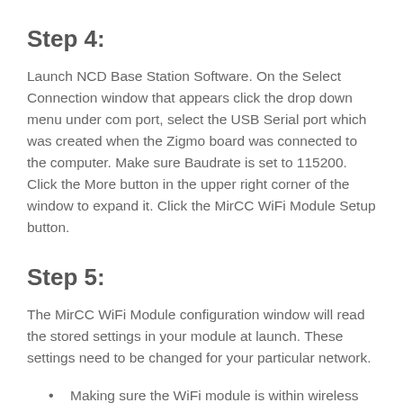Step 4:
Launch NCD Base Station Software. On the Select Connection window that appears click the drop down menu under com port, select the USB Serial port which was created when the Zigmo board was connected to the computer. Make sure Baudrate is set to 115200. Click the More button in the upper right corner of the window to expand it. Click the MirCC WiFi Module Setup button.
Step 5:
The MirCC WiFi Module configuration window will read the stored settings in your module at launch. These settings need to be changed for your particular network.
Making sure the WiFi module is within wireless range of the network you wish to attach it to click the Scan for Networks Button. A window will pop up